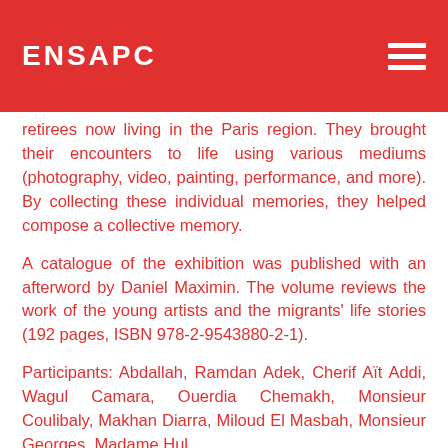ENSAPC
retirees now living in the Paris region. They brought their encounters to life using various mediums (photography, video, painting, performance, and more). By collecting these individual memories, they helped compose a collective memory.
A catalogue of the exhibition was published with an afterword by Daniel Maximin. The volume reviews the work of the young artists and the migrants' life stories (192 pages, ISBN 978-2-9543880-2-1).
Participants: Abdallah, Ramdan Adek, Cherif Aït Addi, Wagul Camara, Ouerdia Chemakh, Monsieur Coulibaly, Makhan Diarra, Miloud El Masbah, Monsieur Georges, Madame Hul